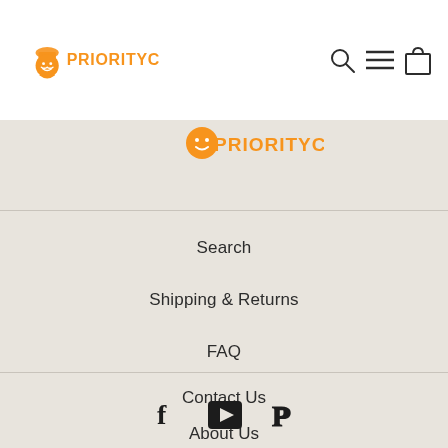[Figure (logo): PriorityChef logo with orange chef character and orange text PRIORITYCHEF]
[Figure (logo): Partial PriorityChef logo visible at top of beige section]
Search
Shipping & Returns
FAQ
Contact Us
About Us
Influencers
[Figure (illustration): Social media icons: Facebook, YouTube play button, Pinterest]